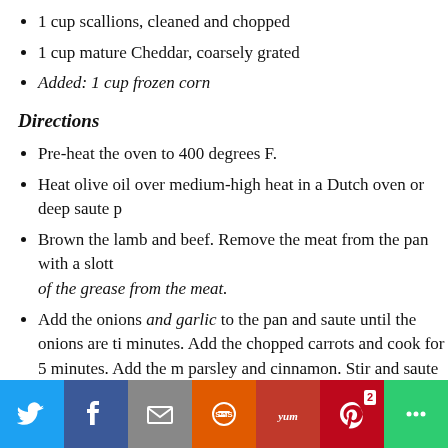1 cup scallions, cleaned and chopped
1 cup mature Cheddar, coarsely grated
Added: 1 cup frozen corn
Directions
Pre-heat the oven to 400 degrees F.
Heat olive oil over medium-high heat in a Dutch oven or deep saute p
Brown the lamb and beef. Remove the meat from the pan with a slott of the grease from the meat.
Add the onions and garlic to the pan and saute until the onions are ti minutes. Add the chopped carrots and cook for 5 minutes. Add the m parsley and cinnamon. Stir and saute for 2 minutes.
Next, stir in the flour, which will soak up the juice (I didn't have to d beef stock.
Taste and add salt and pepper, as needed.
Return the meat to the pan and bring to a boil. Cover, turn down the h minutes until the lamb is fully cooked. I didn't need 30 minutes; I add